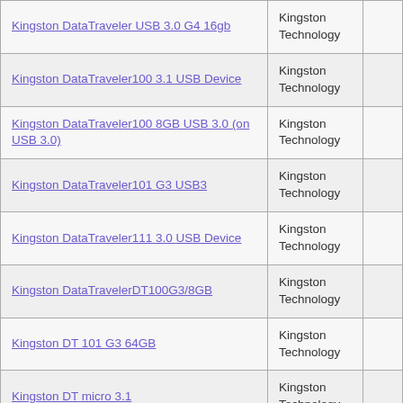| Product | Manufacturer |  |
| --- | --- | --- |
| Kingston DataTraveler USB 3.0 G4 16gb | Kingston Technology |  |
| Kingston DataTraveler100 3.1 USB Device | Kingston Technology |  |
| Kingston DataTraveler100 8GB USB 3.0 (on USB 3.0) | Kingston Technology |  |
| Kingston DataTraveler101 G3 USB3 | Kingston Technology |  |
| Kingston DataTraveler111 3.0 USB Device | Kingston Technology |  |
| Kingston DataTravelerDT100G3/8GB | Kingston Technology |  |
| Kingston DT 101 G3 64GB | Kingston Technology |  |
| Kingston DT micro 3.1 | Kingston Technology |  |
| Kingston DT SE9 G2 64 GB | Kingston Technology |  |
| Kingston DT100/G3 8GB USB 3.0 | Kingston Technology |  |
| Kingston DT106 32GB | Kingston Technology |  |